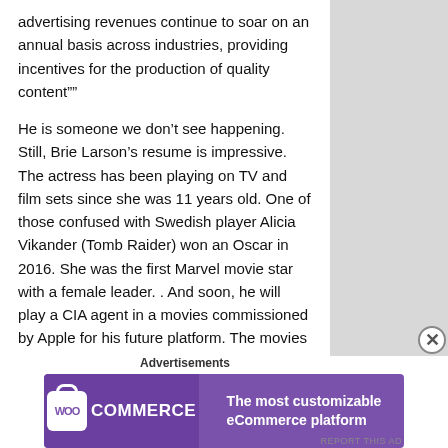advertising revenues continue to soar on an annual basis across industries, providing incentives for the production of quality content””
He is someone we don’t see happening. Still, Brie Larson’s resume is impressive. The actress has been playing on TV and film sets since she was 11 years old. One of those confused with Swedish player Alicia Vikander (Tomb Raider) won an Oscar in 2016. She was the first Marvel movie star with a female leader. . And soon, he will play a CIA agent in a movies commissioned by Apple for his future platform. The movies he produced together.
Unknown to the general public in 2016, this “neighbor girl” won an Academy Award for best actress for her poignant appearance in the “Room”, the true story of a wo who was exiled with her child by predators. He had overtaken
Advertisements
[Figure (other): WooCommerce advertisement banner with purple background. Left side shows WooCommerce logo (white shopping bag icon with 'Woo' text). Right side reads 'The most customizable eCommerce platform' in white text.]